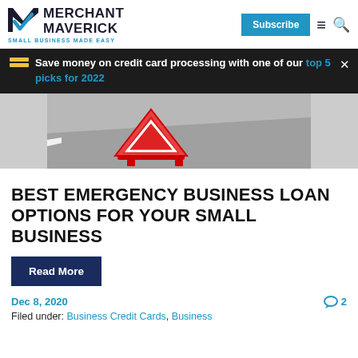MERCHANT MAVERICK — SMALL BUSINESS MADE EASY | Subscribe
Save money on credit card processing with one of our top 5 picks for 2022
[Figure (photo): Red warning triangle / hazard sign on a road surface, viewed from above at an angle. Grey asphalt road with white lane markings visible.]
BEST EMERGENCY BUSINESS LOAN OPTIONS FOR YOUR SMALL BUSINESS
Read More
Dec 8, 2020
Filed under: Business Credit Cards, Business